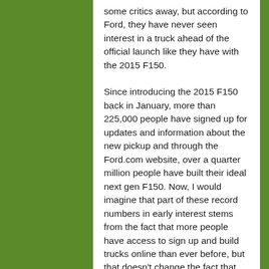some critics away, but according to Ford, they have never seen interest in a truck ahead of the official launch like they have with the 2015 F150.
Since introducing the 2015 F150 back in January, more than 225,000 people have signed up for updates and information about the new pickup and through the Ford.com website, over a quarter million people have built their ideal next gen F150. Now, I would imagine that part of these record numbers in early interest stems from the fact that more people have access to sign up and build trucks online than ever before, but that doesn't change the fact that plenty of prospective buyers are interested in the 2015 F150.
Ford is so convinced that there will be incredible demand for the new 2015 F150 that they have beefed up their workforce at the Rouge plant, bringing the total output of that plant and the